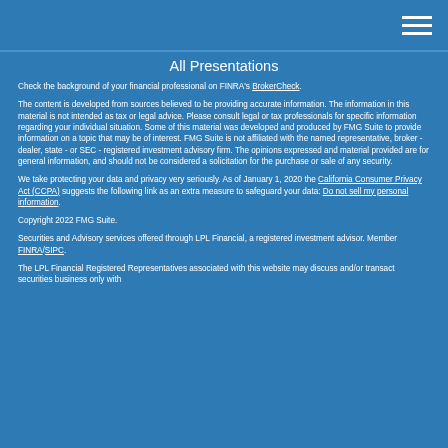All Presentations
Check the background of your financial professional on FINRA's BrokerCheck.
The content is developed from sources believed to be providing accurate information. The information in this material is not intended as tax or legal advice. Please consult legal or tax professionals for specific information regarding your individual situation. Some of this material was developed and produced by FMG Suite to provide information on a topic that may be of interest. FMG Suite is not affiliated with the named representative, broker - dealer, state - or SEC - registered investment advisory firm. The opinions expressed and material provided are for general information, and should not be considered a solicitation for the purchase or sale of any security.
We take protecting your data and privacy very seriously. As of January 1, 2020 the California Consumer Privacy Act (CCPA) suggests the following link as an extra measure to safeguard your data: Do not sell my personal information.
Copyright 2022 FMG Suite.
Securities and Advisory services offered through LPL Financial, a registered investment advisor. Member FINRA/SIPC.
The LPL Financial Registered Representatives associated with this website may discuss and/or transact securities business only with